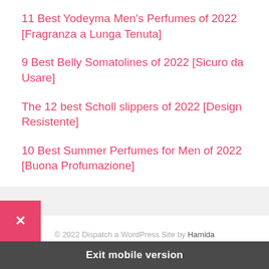11 Best Yodeyma Men's Perfumes of 2022 [Fragranza a Lunga Tenuta]
9 Best Belly Somatolines of 2022 [Sicuro da Usare]
The 12 best Scholl slippers of 2022 [Design Resistente]
10 Best Summer Perfumes for Men of 2022 [Buona Profumazione]
© 2022 Dispatch a WordPress Site by Hamida
Exit mobile version